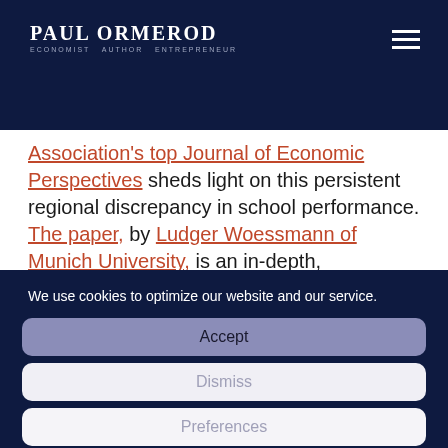PAUL ORMEROD — Economist Author Entrepreneur
Association's top Journal of Economic Perspectives sheds light on this persistent regional discrepancy in school performance. The paper, by Ludger Woessmann of Munich University, is an in-depth, meticulous statistical
We use cookies to optimize our website and our service.
Accept
Dismiss
Preferences
Privacy Policy